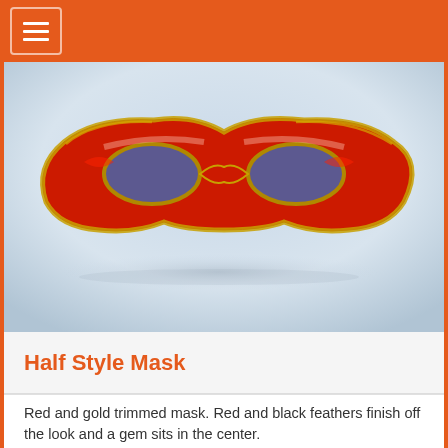[Figure (photo): A red and gold decorative half-style masquerade mask photographed on a light blue-grey background. The mask has two eye openings outlined in gold trim, red fabric body, and gold decorative edging.]
Half Style Mask
Red and gold trimmed mask. Red and black feathers finish off the look and a gem sits in the center.